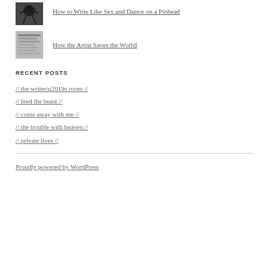[Figure (photo): Small black and white thumbnail image of a bird or crow silhouette]
How to Write Like Sex and Dance on a Pinhead
[Figure (photo): Small thumbnail image resembling a handwritten or typed document page]
How the Artist Saves the World
RECENT POSTS
// the writer’s room //
// feed the beast //
// come away with me //
// the trouble with heaven //
// private lives //
Proudly powered by WordPress